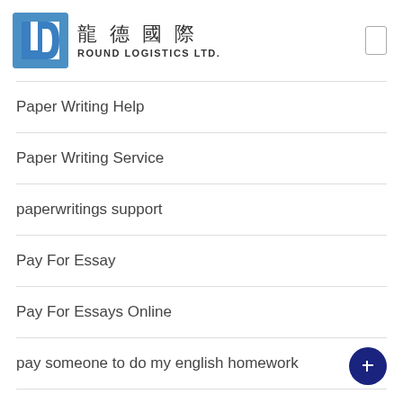[Figure (logo): Round Logistics Ltd. logo with blue square 'LD' mark, Chinese characters 龍德國際, and text ROUND LOGISTICS LTD.]
Paper Writing Help
Paper Writing Service
paperwritings support
Pay For Essay
Pay For Essays Online
pay someone to do my english homework
pay someone to write an essay
Pay Someone To Write My E…